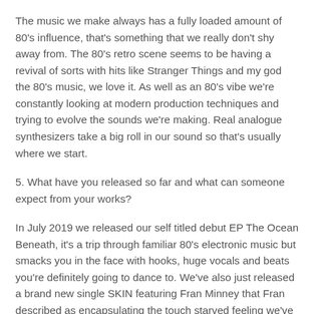The music we make always has a fully loaded amount of 80's influence, that's something that we really don't shy away from. The 80's retro scene seems to be having a revival of sorts with hits like Stranger Things and my god the 80's music, we love it. As well as an 80's vibe we're constantly looking at modern production techniques and trying to evolve the sounds we're making. Real analogue synthesizers take a big roll in our sound so that's usually where we start.
5. What have you released so far and what can someone expect from your works?
In July 2019 we released our self titled debut EP The Ocean Beneath, it's a trip through familiar 80's electronic music but smacks you in the face with hooks, huge vocals and beats you're definitely going to dance to. We've also just released a brand new single SKIN featuring Fran Minney that Fran described as encapsulating the touch starved feeling we've all had through lockdown with a beat to dance out the frustration. It's got a Madonna Frozen kind of vibe mixed with some hard electronica.